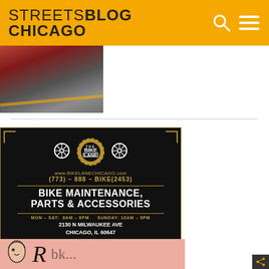STREETSBLOG CHICAGO
[Figure (photo): Partial photo of street scene with yellow markings, cropped at top of content area]
[Figure (illustration): The Bike Lane advertisement: black background with gold border, bike wheel icons, gear/sprocket logo, text: www.BIKELANECHICAGO.com, (773) - 888 - BIKE(2453), BIKE MAINTENANCE, PARTS & ACCESSORIES, Mon-Sat: 8AM-8PM Sunday: 10AM-6PM, 2130 N MILWAUKEE AVE, CHICAGO, IL 60647]
[Figure (photo): Partial view of pink-background advertisement with illustrated face and large letter R, cropped at bottom of page]